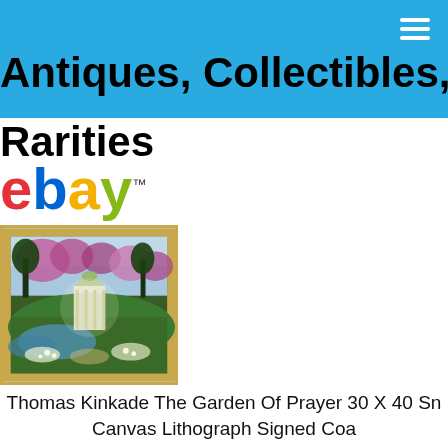Antiques, Collectibles, and Rarities
[Figure (logo): eBay logo with colorful letters e(red), b(blue), a(yellow), y(green) with TM mark]
[Figure (photo): Thomas Kinkade framed painting showing a garden scene with a gazebo, colorful trees, and a stream, in a gold ornate frame]
Thomas Kinkade The Garden Of Prayer 30 X 40 Sn Canvas Lithograph Signed Coa